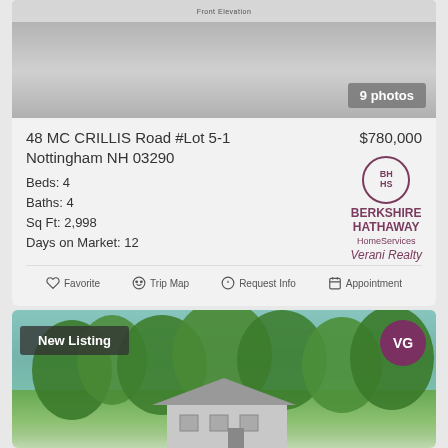[Figure (photo): Front elevation architectural drawing / photo of property, shown in grayscale. Badge showing '9 photos' in bottom right.]
48 MC CRILLIS Road #Lot 5-1   $780,000
Nottingham NH 03290
Beds: 4
Baths: 4
Sq Ft: 2,998
Days on Market: 12
[Figure (logo): Berkshire Hathaway HomeServices Verani Realty logo with circular BH/HS emblem]
Favorite   Trip Map   Request Info   Appointment
[Figure (photo): New Listing photo showing a house surrounded by trees. VG circular logo badge in top right corner. 'New Listing' badge in top left.]